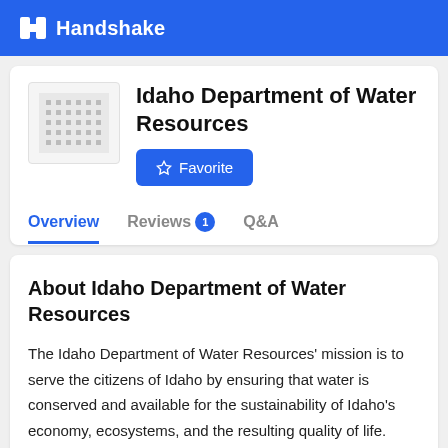Handshake
Idaho Department of Water Resources
Overview  Reviews 1  Q&A
About Idaho Department of Water Resources
The Idaho Department of Water Resources' mission is to serve the citizens of Idaho by ensuring that water is conserved and available for the sustainability of Idaho's economy, ecosystems, and the resulting quality of life.